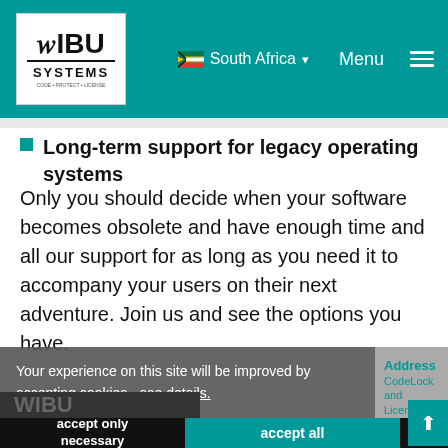[Figure (logo): WIBU-SYSTEMS logo in white box, teal header background with South Africa flag, Menu and hamburger icon]
Long-term support for legacy operating systems
Only you should decide when your software becomes obsolete and have enough time and all our support for as long as you need it to accompany your users on their next adventure. Join us and see the options you have.
Your experience on this site will be improved by accepting cookies - see details.
accept only necessary
accept all
Address
CodeLock and Licensing